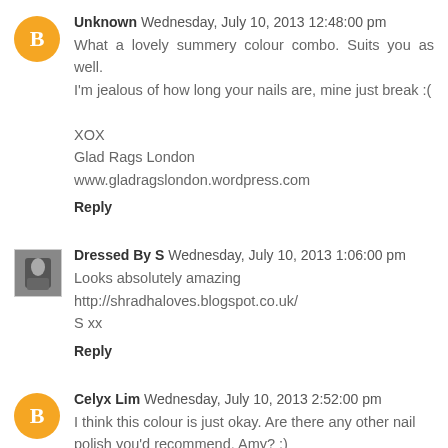Unknown Wednesday, July 10, 2013 12:48:00 pm
What a lovely summery colour combo. Suits you as well. I'm jealous of how long your nails are, mine just break :(

XOX
Glad Rags London
www.gladragslondon.wordpress.com
Reply
Dressed By S Wednesday, July 10, 2013 1:06:00 pm
Looks absolutely amazing
http://shradhaloves.blogspot.co.uk/
S xx
Reply
Celyx Lim Wednesday, July 10, 2013 2:52:00 pm
I think this colour is just okay. Are there any other nail polish you'd recommend, Amy? :)